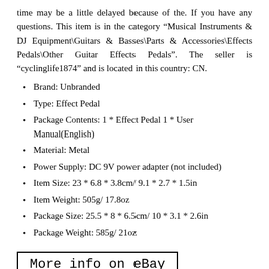time may be a little delayed because of the. If you have any questions. This item is in the category “Musical Instruments & DJ Equipment\Guitars & Basses\Parts & Accessories\Effects Pedals\Other Guitar Effects Pedals”. The seller is “cyclinglife1874” and is located in this country: CN.
Brand: Unbranded
Type: Effect Pedal
Package Contents: 1 * Effect Pedal 1 * User Manual(English)
Material: Metal
Power Supply: DC 9V power adapter (not included)
Item Size: 23 * 6.8 * 3.8cm/ 9.1 * 2.7 * 1.5in
Item Weight: 505g/ 17.8oz
Package Size: 25.5 * 8 * 6.5cm/ 10 * 3.1 * 2.6in
Package Weight: 585g/ 21oz
[Figure (other): More info on eBay button with black border]
Read More...
Distortion Guitar Multi-Effects Pedal Metal Overdrive 23 6.8 3.8